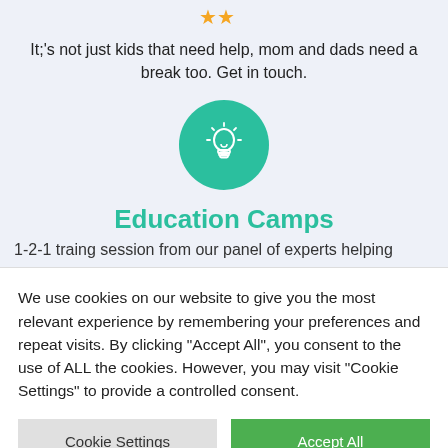[Figure (illustration): Two orange/yellow star icons partially visible at top center]
It;'s not just kids that need help, mom and dads need a break too. Get in touch.
[Figure (illustration): Green circle with white lightbulb icon inside]
Education Camps
1-2-1 traing session from our panel of experts helping
We use cookies on our website to give you the most relevant experience by remembering your preferences and repeat visits. By clicking "Accept All", you consent to the use of ALL the cookies. However, you may visit "Cookie Settings" to provide a controlled consent.
Cookie Settings | Accept All